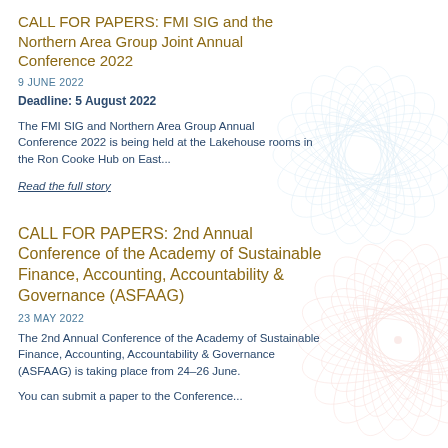CALL FOR PAPERS: FMI SIG and the Northern Area Group Joint Annual Conference 2022
9 JUNE 2022
Deadline: 5 August 2022
The FMI SIG and Northern Area Group Annual Conference 2022 is being held at the Lakehouse rooms in the Ron Cooke Hub on East...
Read the full story
CALL FOR PAPERS: 2nd Annual Conference of the Academy of Sustainable Finance, Accounting, Accountability & Governance (ASFAAG)
23 MAY 2022
The 2nd Annual Conference of the Academy of Sustainable Finance, Accounting, Accountability & Governance (ASFAAG) is taking place from 24–26 June.
You can submit a paper to the Conference...